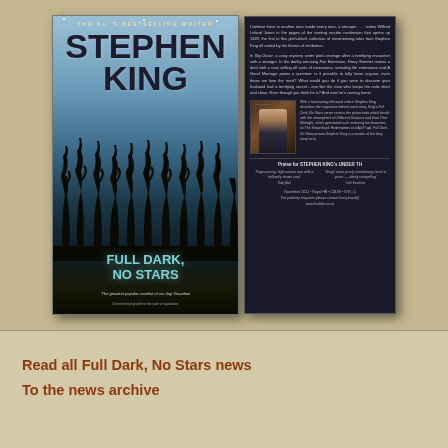[Figure (photo): Photo of Stephen King book 'Full Dark, No Stars' front cover showing author name, title, cornfield silhouette, and tagline, alongside the book's back cover with plot description, author photo, and praise quotes on dark background]
Read all Full Dark, No Stars news
To the news archive